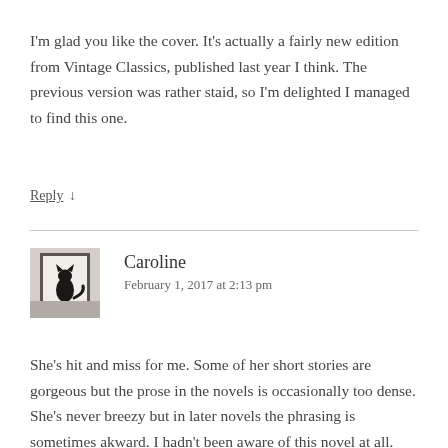I'm glad you like the cover. It's actually a fairly new edition from Vintage Classics, published last year I think. The previous version was rather staid, so I'm delighted I managed to find this one.
Reply ↓
Caroline
February 1, 2017 at 2:13 pm
She's hit and miss for me. Some of her short stories are gorgeous but the prose in the novels is occasionally too dense. She's never breezy but in later novels the phrasing is sometimes akward. I hadn't been aware of this novel at all. Like Guy and Max, I love hotel stories, so I'll keep this one in mind.